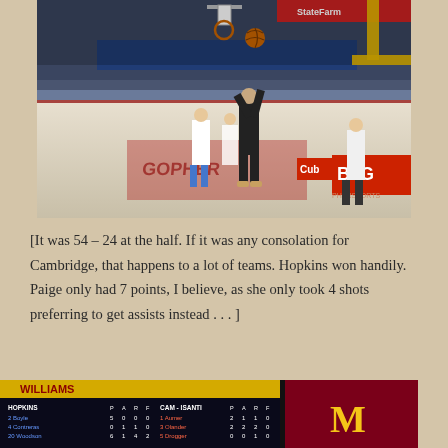[Figure (photo): Women's basketball game action shot showing players near the basket. A player in black uniform shooting while defenders in white uniforms attempt to block. Gymnasium with crowd in background, BIG and Cub Foods signage visible, referee on right side.]
[It was 54 – 24 at the half.  If it was any consolation for Cambridge, that happens to a lot of teams.  Hopkins won handily.  Paige only had 7 points, I believe, as she only took 4 shots preferring to get assists instead . . . ]
[Figure (photo): Scoreboard showing a basketball game between HOPKINS and CAM-ISANTI with player statistics. The scoreboard lists players with P, A, R, F columns. Visible entries include Boyle, Centreras, Woodson for Hopkins and Aumer, Olander, Drogger for Cam-Isanti. Williams Arena Minnesota logo visible on right.]